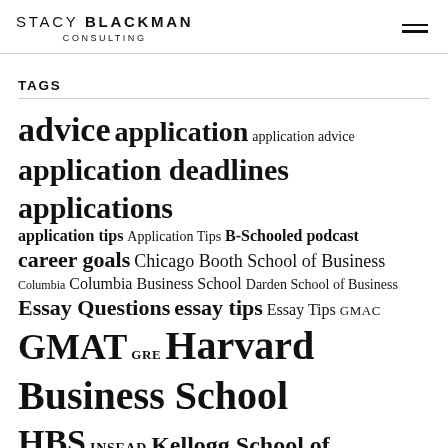STACY BLACKMAN CONSULTING
TAGS
advice application application advice application deadlines applications application tips Application Tips B-Schooled podcast career goals Chicago Booth School of Business Columbia Columbia Business School Darden School of Business Essay Questions essay tips Essay Tips GMAC GMAT GRE Harvard Business School HBS INSEAD Kellogg School of Management MBA